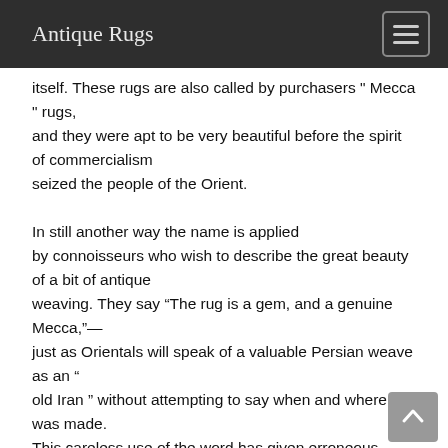Antique Rugs
itself. These rugs are also called by purchasers " Mecca " rugs, and they were apt to be very beautiful before the spirit of commercialism seized the people of the Orient.

In still another way the name is applied by connoisseurs who wish to describe the great beauty of a bit of antique weaving. They say “The rug is a gem, and a genuine Mecca,”— just as Orientals will speak of a valuable Persian weave as an “ old Iran ” without attempting to say when and where it was made. This careless use of the word has given erroneous impressions to many